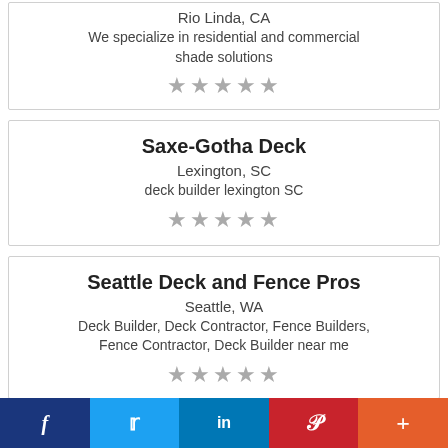Rio Linda, CA
We specialize in residential and commercial shade solutions
★★★★★
Saxe-Gotha Deck
Lexington, SC
deck builder lexington SC
★★★★★
Seattle Deck and Fence Pros
Seattle, WA
Deck Builder, Deck Contractor, Fence Builders, Fence Contractor, Deck Builder near me
★★★★★
f  Twitter  in  Pinterest  +